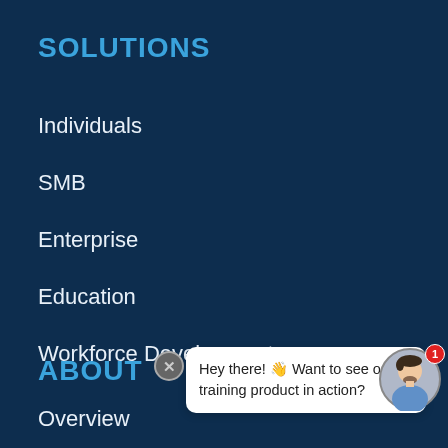SOLUTIONS
Individuals
SMB
Enterprise
Education
Workforce Development
ABOUT
Overview
[Figure (other): Chat widget overlay with close button, speech bubble saying 'Hey there! 👋 Want to see our training product in action?', and an avatar with a red notification badge showing 1]